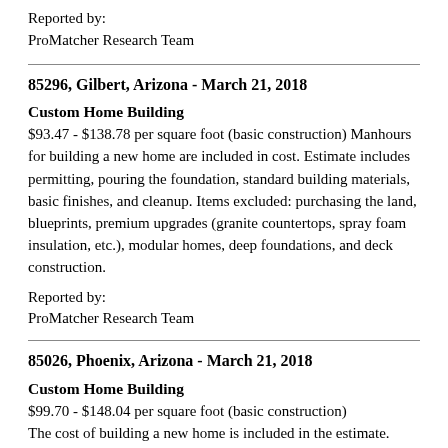Reported by:
ProMatcher Research Team
85296, Gilbert, Arizona - March 21, 2018
Custom Home Building
$93.47 - $138.78 per square foot (basic construction) Manhours for building a new home are included in cost. Estimate includes permitting, pouring the foundation, standard building materials, basic finishes, and cleanup. Items excluded: purchasing the land, blueprints, premium upgrades (granite countertops, spray foam insulation, etc.), modular homes, deep foundations, and deck construction.
Reported by:
ProMatcher Research Team
85026, Phoenix, Arizona - March 21, 2018
Custom Home Building
$99.70 - $148.04 per square foot (basic construction) The cost of building a new home is included in the estimate. Price takes into account permitting, pouring the foundation,